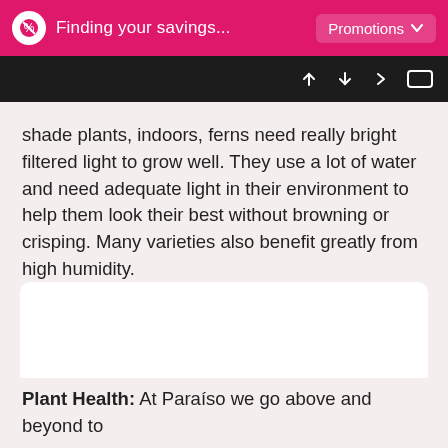Finding your savings... Promotions
shade plants, indoors, ferns need really bright filtered light to grow well. They use a lot of water and need adequate light in their environment to help them look their best without browning or crisping. Many varieties also benefit greatly from high humidity.
[Figure (other): White rounded rectangle box (image placeholder area)]
Plant Health: At Paraíso we go above and beyond to